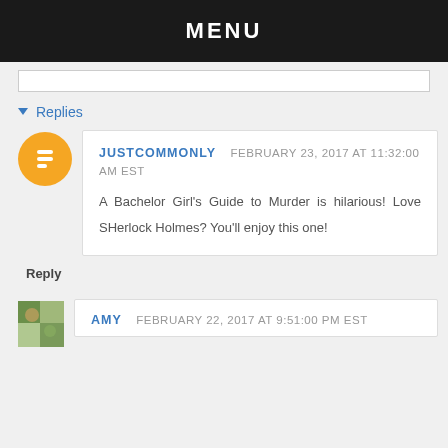MENU
▾ Replies
JUSTCOMMONLY   FEBRUARY 23, 2017 AT 11:32:00 AM EST
A Bachelor Girl's Guide to Murder is hilarious! Love SHerlock Holmes? You'll enjoy this one!
Reply
AMY   FEBRUARY 22, 2017 AT 9:51:00 PM EST